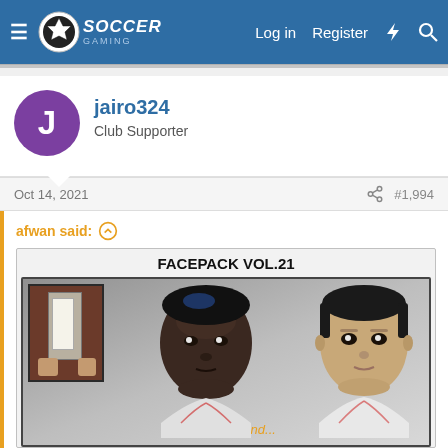Soccer Gaming — Log in  Register
jairo324
Club Supporter
Oct 14, 2021    #1,994
afwan said:
[Figure (screenshot): FACEPACK VOL.21 banner image showing two 3D-rendered football player faces on a grey gradient background, with a small photo thumbnail in the top-left corner showing a door. Text reads 'Click to expand...']
Raul Jimenez with tape please
afwan